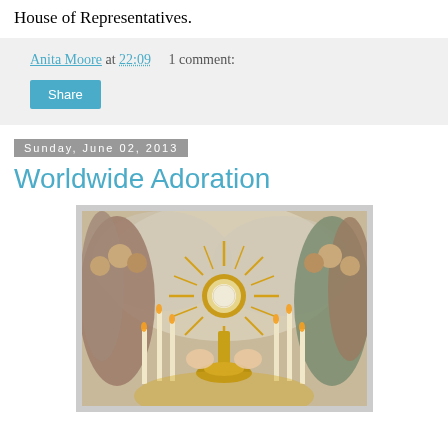House of Representatives.
Anita Moore at 22:09    1 comment:
Share
Sunday, June 02, 2013
Worldwide Adoration
[Figure (illustration): Religious painting depicting the Eucharist/Adoration scene with candles, a monstrance radiating golden light, cherubs, and robed figures on both sides against a heavenly background]